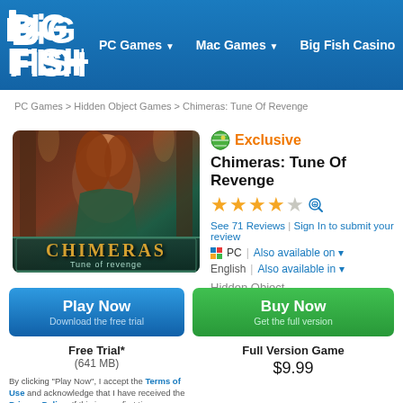Big Fish — PC Games | Mac Games | Big Fish Casino
PC Games > Hidden Object Games > Chimeras: Tune Of Revenge
[Figure (illustration): Game cover art for Chimeras: Tune Of Revenge showing a woman with long red hair and text 'CHIMERAS Tune of revenge']
Exclusive
Chimeras: Tune Of Revenge
★★★★★ (4.5/5 stars) See 71 Reviews | Sign In to submit your review
PC | Also available on ▾
English | Also available in ▾
Hidden Object
Play Now — Download the free trial
Buy Now — Get the full version
Free Trial* (641 MB)
Full Version Game $9.99
By clicking "Play Now", I accept the Terms of Use and acknowledge that I have received the Privacy Policy. If this is your first time downloading a game